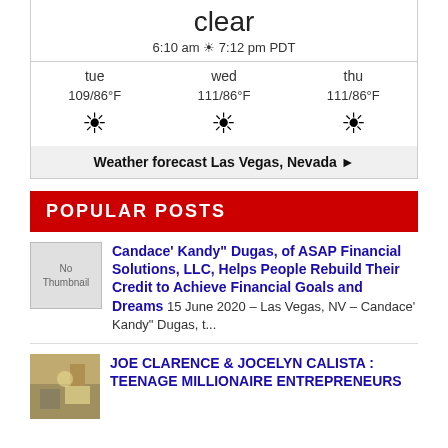clear
6:10 am ☼ 7:12 pm PDT
| tue | wed | thu |
| --- | --- | --- |
| 109/86°F | 111/86°F | 111/86°F |
Weather forecast Las Vegas, Nevada ►
POPULAR POSTS
Candace' Kandy" Dugas, of ASAP Financial Solutions, LLC, Helps People Rebuild Their Credit to Achieve Financial Goals and Dreams 15 June 2020 – Las Vegas, NV – Candace' Kandy" Dugas, t...
JOE CLARENCE & JOCELYN CALISTA : TEENAGE MILLIONAIRE ENTREPRENEURS